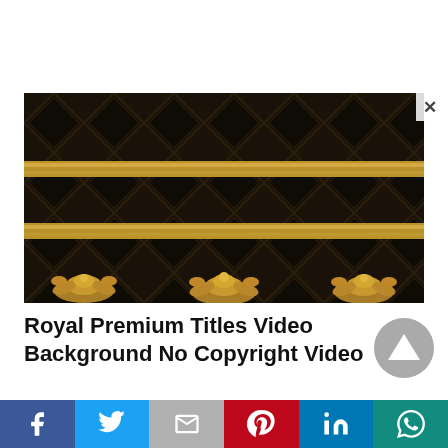[Figure (photo): Dark luxury diamond-pattern quilted background with two horizontal gold stripe bands and ornate gold floral decorations along the bottom edge. A close/X button appears in the top right corner of the image overlay.]
Royal Premium Titles Video Background No Copyright Video
[Figure (other): Grey circular play/up button icon]
[Figure (infographic): Social sharing buttons bar: Facebook (blue), Twitter (light blue), Gmail/Mail (grey), Pinterest (red), LinkedIn (blue), WhatsApp (teal)]